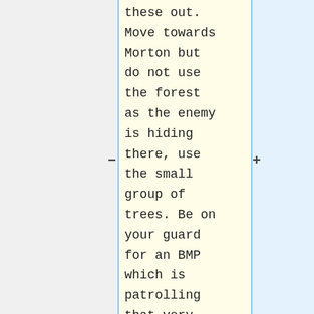these out. Move towards Morton but do not use the forest as the enemy is hiding there, use the small group of trees. Be on your guard for an BMP which is patrolling that very area. As you move closer to Morton you will hear that Morton as